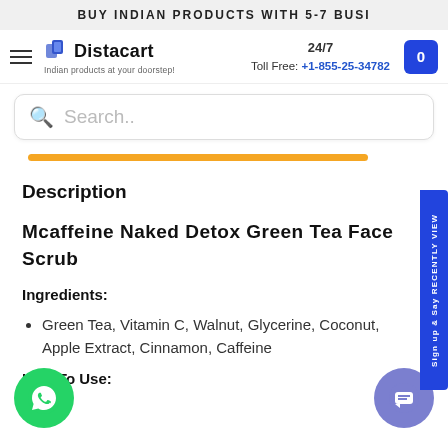BUY INDIAN PRODUCTS WITH 5-7 BUSI
[Figure (logo): Distacart logo with shopping bag icon and tagline 'Indian products at your doorstep!']
24/7 Toll Free: +1-855-25-34782
Search..
Description
Mcaffeine Naked Detox Green Tea Face Scrub
Ingredients:
Green Tea, Vitamin C, Walnut, Glycerine, Coconut, Apple Extract, Cinnamon, Caffeine
How To Use: